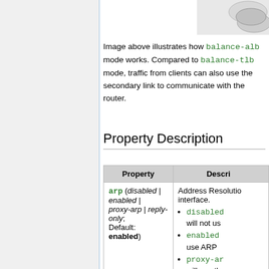[Figure (illustration): Partial view of a network/bonding diagram showing a device icon in the upper right corner]
Image above illustrates how balance-alb mode works. Compared to balance-tlb mode, traffic from clients can also use the secondary link to communicate with the router.
Property Description
| Property | Description |
| --- | --- |
| arp (disabled | enabled | proxy-arp | reply-only; Default: enabled) | Address Resolution interface.
• disabled - will not use
• enabled - use ARP
• proxy-ar - will use the feature
• reply-on - interface w requests o |